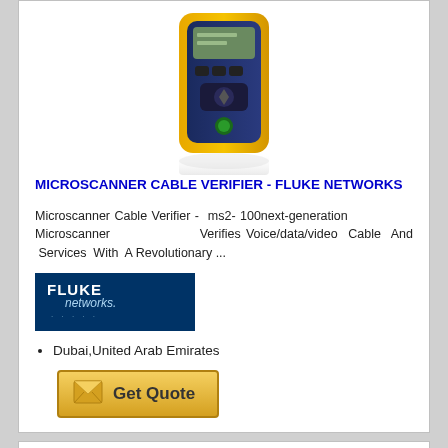[Figure (photo): Fluke Networks MicroScanner cable verifier device - yellow and blue handheld unit with display and buttons, shown with reflection below]
MICROSCANNER CABLE VERIFIER - FLUKE NETWORKS
Microscanner Cable Verifier -  ms2- 100next-generation           Microscanner         Verifies Voice/data/video  Cable  And  Services  With  A Revolutionary ...
[Figure (logo): Fluke Networks logo - white text on dark blue background with network dots pattern]
Dubai,United Arab Emirates
[Figure (other): Get Quote button - yellow/gold gradient button with envelope icon and 'Get Quote' text]
[Figure (photo): Second Fluke Networks cable verifier device - yellow and blue handheld tester with LCD display showing numbers and icons, partially cropped at bottom]